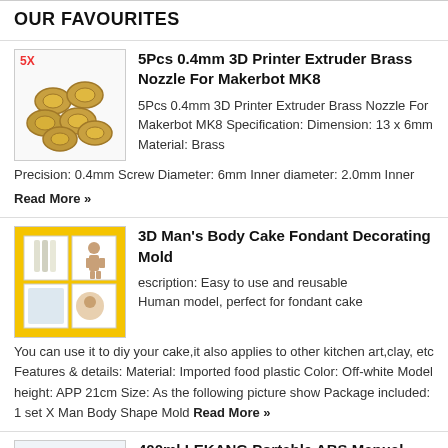OUR FAVOURITES
5Pcs 0.4mm 3D Printer Extruder Brass Nozzle For Makerbot MK8
5Pcs 0.4mm 3D Printer Extruder Brass Nozzle For Makerbot MK8 Specification: Dimension: 13 x 6mm Material: Brass Precision: 0.4mm Screw Diameter: 6mm Inner diameter: 2.0mm Inner Read More »
3D Man's Body Cake Fondant Decorating Mold
escription: Easy to use and reusable
Human model, perfect for fondant cake
You can use it to diy your cake,it also applies to other kitchen art,clay, etc Features & details: Material: Imported food plastic Color: Off-white Model height: APP 21cm Size: As the following picture show Package included:  1 set X Man Body Shape Mold Read More »
400ml LEKANG Portable ABS Manual Operation Bidet For Man Women Kids Cleaning Device